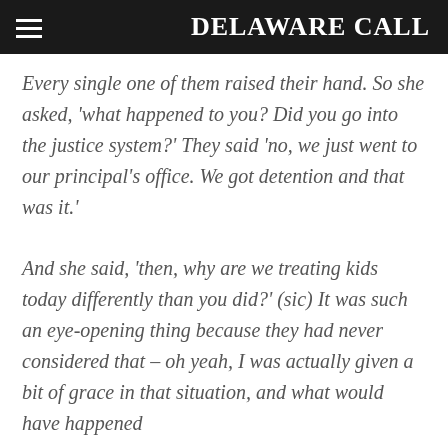DELAWARE CALL
Every single one of them raised their hand. So she asked, ‘what happened to you? Did you go into the justice system?’ They said ‘no, we just went to our principal’s office. We got detention and that was it.’
And she said, ‘then, why are we treating kids today differently than you did?’ (sic) It was such an eye-opening thing because they had never considered that – oh yeah, I was actually given a bit of grace in that situation, and what would have happened